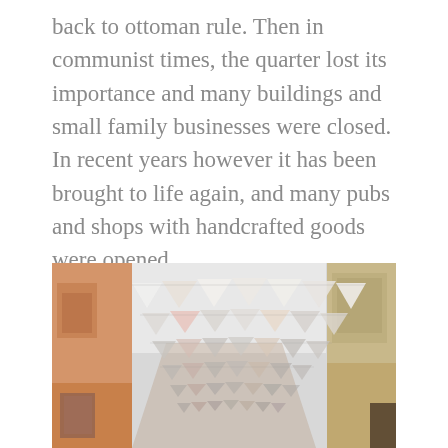back to ottoman rule. Then in communist times, the quarter lost its importance and many buildings and small family businesses were closed. In recent years however it has been brought to life again, and many pubs and shops with handcrafted goods were opened.
[Figure (photo): Street-level photo looking up at a narrow old-town street with colorful triangular bunting flags strung between buildings on both sides. Buildings are painted in warm peach/orange and cream tones. The sky is overcast white/grey.]